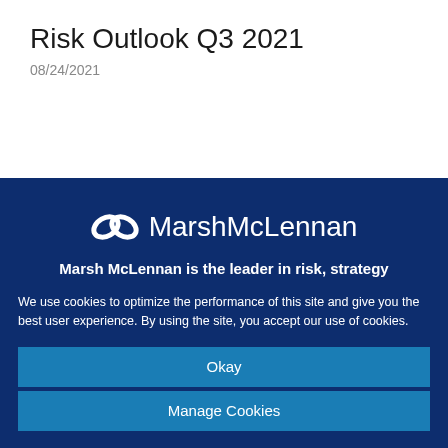Risk Outlook Q3 2021
08/24/2021
[Figure (logo): Marsh McLennan logo with infinity-style double loop icon and company name in white on dark blue background]
Marsh McLennan is the leader in risk, strategy
We use cookies to optimize the performance of this site and give you the best user experience. By using the site, you accept our use of cookies.
Okay
Manage Cookies